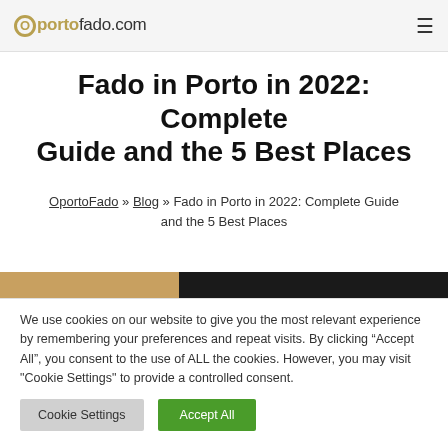Oportofado.com
Fado in Porto in 2022: Complete Guide and the 5 Best Places
OportoFado » Blog » Fado in Porto in 2022: Complete Guide and the 5 Best Places
[Figure (photo): Partial image strip showing a photo of a fado venue interior]
We use cookies on our website to give you the most relevant experience by remembering your preferences and repeat visits. By clicking "Accept All", you consent to the use of ALL the cookies. However, you may visit "Cookie Settings" to provide a controlled consent.